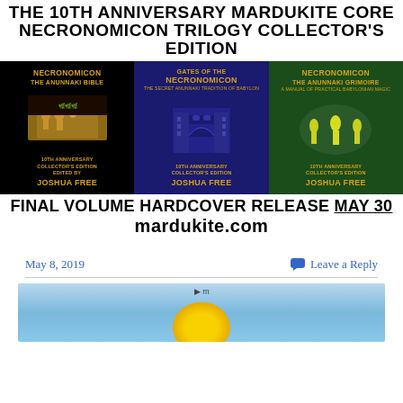[Figure (illustration): Promotional banner for The 10th Anniversary Mardukite Core Necronomicon Trilogy Collector's Edition, showing three book covers: Necronomicon The Anunnaki Bible (black cover), Gates of the Necronomicon (blue cover), and Necronomicon The Anunnaki Grimoire (green cover), all edited/authored by Joshua Free. Text: FINAL VOLUME HARDCOVER RELEASE MAY 30 mardukite.com]
May 8, 2019
Leave a Reply
[Figure (photo): Partial photo showing a blue sky background with a yellow/golden object at the bottom center, partially cropped.]